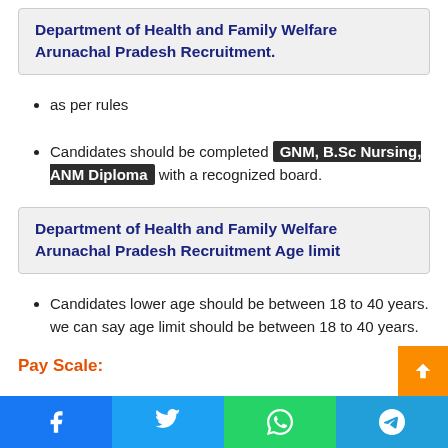Department of Health and Family Welfare Arunachal Pradesh Recruitment.
as per rules
Candidates should be completed GNM, B.Sc Nursing, ANM Diploma with a recognized board.
Department of Health and Family Welfare Arunachal Pradesh Recruitment Age limit
Candidates lower age should be between 18 to 40 years. we can say age limit should be between 18 to 40 years.
Pay Scale:
Social share buttons: Facebook, Twitter, WhatsApp, Telegram